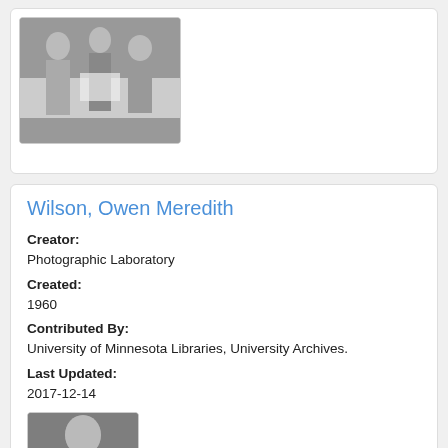[Figure (photo): Black and white photograph of three people (two women and a man) looking at a document together]
Wilson, Owen Meredith
Creator:
Photographic Laboratory
Created:
1960
Contributed By:
University of Minnesota Libraries, University Archives.
Last Updated:
2017-12-14
[Figure (photo): Black and white portrait photograph of a bald man]